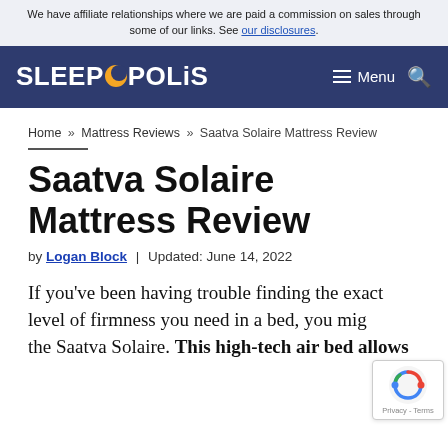We have affiliate relationships where we are paid a commission on sales through some of our links. See our disclosures.
SLEEPOPOLIS — Menu
Home » Mattress Reviews » Saatva Solaire Mattress Review
Saatva Solaire Mattress Review
by Logan Block | Updated: June 14, 2022
If you've been having trouble finding the exact level of firmness you need in a bed, you might the Saatva Solaire. This high-tech air bed allows